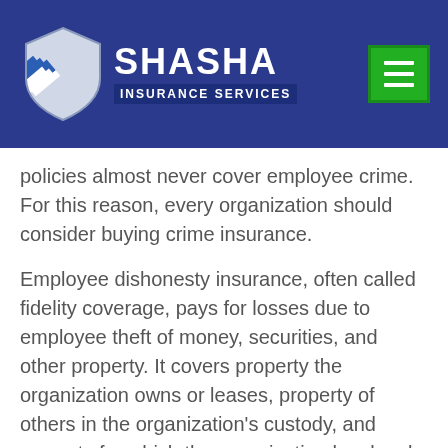[Figure (logo): Shasha Insurance Services logo with shield icon on dark blue header background, and green hamburger menu button]
policies almost never cover employee crime. For this reason, every organization should consider buying crime insurance.
Employee dishonesty insurance, often called fidelity coverage, pays for losses due to employee theft of money, securities, and other property. It covers property the organization owns or leases, property of others in the organization's custody, and property for which the organization has legal liability. Insurance companies can provide one amount of insurance that applies separately to each loss, regardless of how many employees were involved in the theft and regardless of whether the employer can actually identify the responsible employees. Alternatively, the policy can contain a list (known as a schedule) of